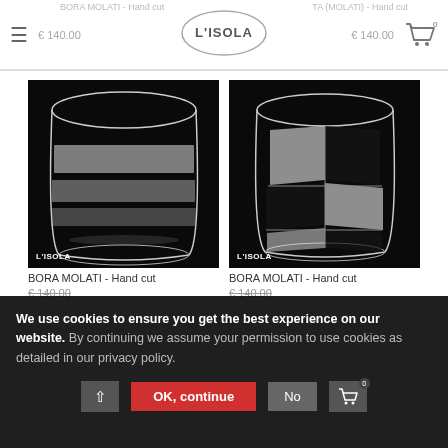L'ISOLA — € 140.00 (left) € 140.00 (right), cart icon with 0
[Figure (photo): Product photo of a hand-cut glass tumbler with horizontal frosted white stripes on black background, L'ISOLA logo watermark in bottom-left corner]
[Figure (photo): Product photo of a hand-cut glass tumbler with a grid/checkerboard pattern of frosted panels on black background, L'ISOLA logo watermark in bottom-left corner]
BORA MOLATI - Hand cut
€ 140.00
BORA MOLATI - Hand cut
€ 140.00
We use cookies to ensure you get the best experience on our website. By continuing we assume your permission to use cookies as detailed in our privacy policy.